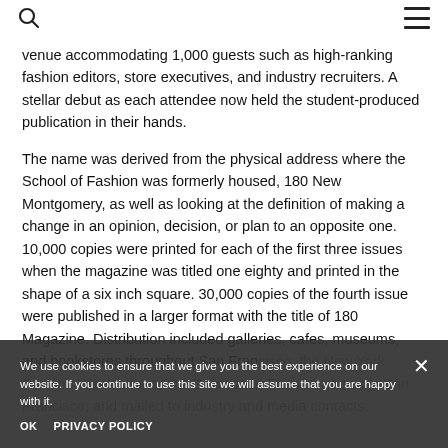[search icon] [menu icon]
venue accommodating 1,000 guests such as high-ranking fashion editors, store executives, and industry recruiters. A stellar debut as each attendee now held the student-produced publication in their hands.
The name was derived from the physical address where the School of Fashion was formerly housed, 180 New Montgomery, as well as looking at the definition of making a change in an opinion, decision, or plan to an opposite one. 10,000 copies were printed for each of the first three issues when the magazine was titled one eighty and printed in the shape of a six inch square. 30,000 copies of the fourth issue were published in a larger format with the title of 180 Magazine. Distribution included galleries, cafes, museums, and bookstores throughout San Francisco, the New York Fashion Week shows, the Graduation Fashion shows in San Francisco, and mailed to industry and media contacts.
We use cookies to ensure that we give you the best experience on our website. If you continue to use this site we will assume that you are happy with it.
OK   PRIVACY POLICY